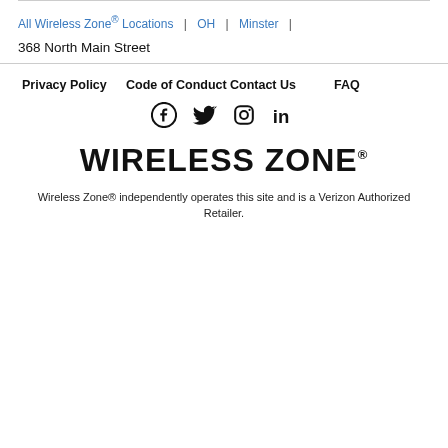All Wireless Zone® Locations | OH | Minster |
368 North Main Street
Privacy Policy
Code of Conduct
Contact Us
FAQ
[Figure (logo): Social media icons: Facebook, Twitter, Instagram, LinkedIn]
[Figure (logo): Wireless Zone® logo in bold black uppercase text]
Wireless Zone® independently operates this site and is a Verizon Authorized Retailer.